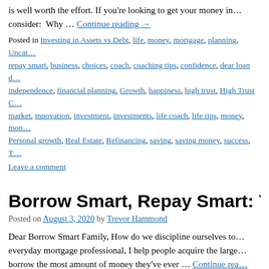is well worth the effort. If you're looking to get your money in… consider:  Why … Continue reading →
Posted in Investing in Assets vs Debt, life, money, mortgage, planning, Uncat… repay smart, business, choices, coach, coaching tips, confidence, dear loan d… independence, financial planning, Growth, happiness, high trust, High Trust C… market, innovation, investment, investments, life coach, life tips, money, mon… Personal growth, Real Estate, Refinancing, saving, saving money, success, T…
Leave a comment
Borrow Smart, Repay Smart: Your Choice…
Posted on August 3, 2020 by Trevor Hammond
Dear Borrow Smart Family, How do we discipline ourselves to… everyday mortgage professional, I help people acquire the large… borrow the most amount of money they've ever … Continue rea…
Posted in 7 Debt Strategies, Investing in Assets vs Debt, life, money, mortga… budgeting, High Trust Coach, High Trust Coaching, High Trust Selling, house… advisor, mortgage lender, mortgage payment, savings, Sierra Pacific Mortgag… hammond, wealth | Leave a comment